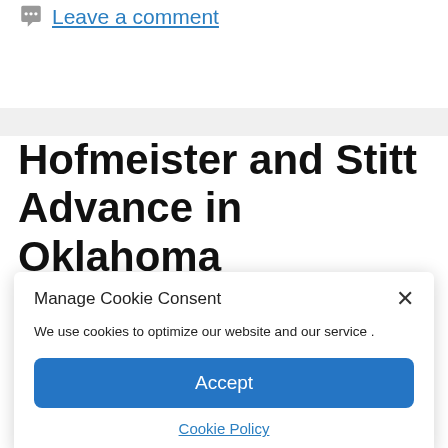Leave a comment
Hofmeister and Stitt Advance in Oklahoma Governor's Race |
Manage Cookie Consent
We use cookies to optimize our website and our service .
Accept
Cookie Policy